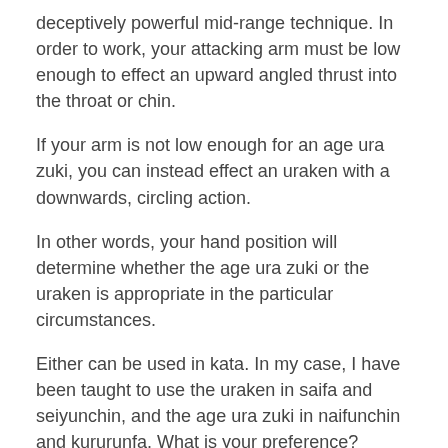deceptively powerful mid-range technique. In order to work, your attacking arm must be low enough to effect an upward angled thrust into the throat or chin.
If your arm is not low enough for an age ura zuki, you can instead effect an uraken with a downwards, circling action.
In other words, your hand position will determine whether the age ura zuki or the uraken is appropriate in the particular circumstances.
Either can be used in kata. In my case, I have been taught to use the uraken in saifa and seiyunchin, and the age ura zuki in naifunchin and kururunfa. What is your preference?
Copyright © 2010 Dejan Djurdjevic
[Figure (illustration): Share icon (less-than style arrow pointing left with two dots)]